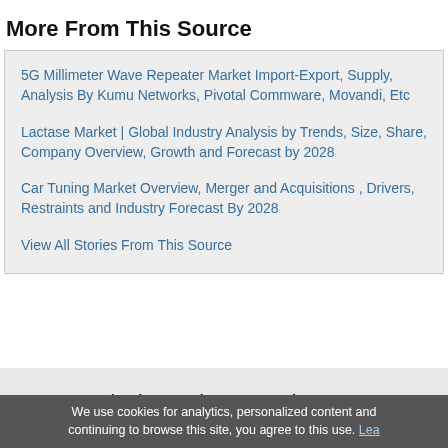More From This Source
5G Millimeter Wave Repeater Market Import-Export, Supply, Analysis By Kumu Networks, Pivotal Commware, Movandi, Etc
Lactase Market | Global Industry Analysis by Trends, Size, Share, Company Overview, Growth and Forecast by 2028
Car Tuning Market Overview, Merger and Acquisitions , Drivers, Restraints and Industry Forecast By 2028
View All Stories From This Source
News Monitoring and Press Release Distribution Tools
We use cookies for analytics, personalized content and continuing to browse this site, you agree to this use. Lea